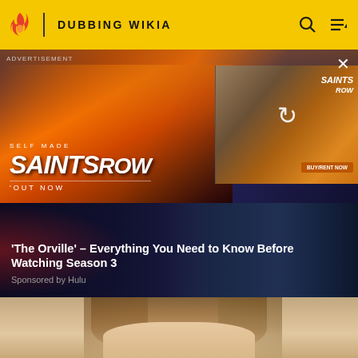DUBBING WIKIA
[Figure (screenshot): Saints Row advertisement banner showing game title art with orange muscle car, explosions, and characters. Text reads: ADVERTISEMENT, SELF MADE, SAINTS ROW, OUT NOW. A mini inset shows a secondary Saints Row ad with a refresh icon.]
'The Orville' – Everything You Need to Know Before Watching Season 3
Sponsored by Hulu
[Figure (photo): Partial photo showing top portion of a person's head with blonde/light brown hair, beige/tan background.]